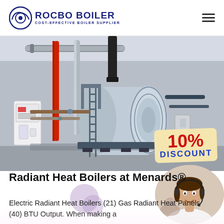ROCBO BOILER — COST-EFFECTIVE BOILER SUPPLIER
[Figure (photo): Industrial gas boiler installation in a factory setting with large horizontal cylindrical boiler, red and metallic pipes, ladder, chimney stack, and a 10% DISCOUNT badge overlaid in the bottom-right corner.]
Radiant Heat Boilers at Menards®
Electric Radiant Heat Boilers (21) Gas Radiant Heat Panels (40) BTU Output. When making a